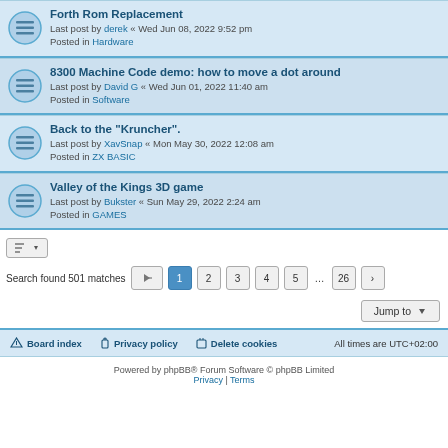Forth Rom Replacement
Last post by derek « Wed Jun 08, 2022 9:52 pm
Posted in Hardware
8300 Machine Code demo: how to move a dot around
Last post by David G « Wed Jun 01, 2022 11:40 am
Posted in Software
Back to the "Kruncher".
Last post by XavSnap « Mon May 30, 2022 12:08 am
Posted in ZX BASIC
Valley of the Kings 3D game
Last post by Bukster « Sun May 29, 2022 2:24 am
Posted in GAMES
Search found 501 matches  1 2 3 4 5 … 26
Jump to
Board index  Privacy policy  Delete cookies  All times are UTC+02:00
Powered by phpBB® Forum Software © phpBB Limited
Privacy | Terms